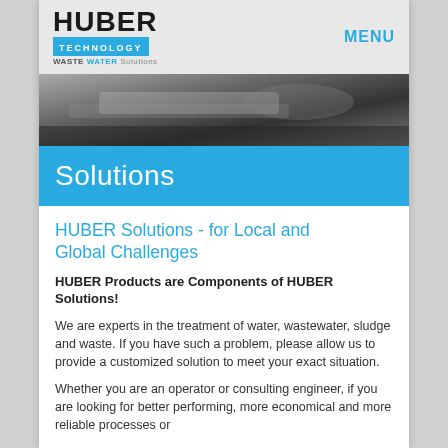[Figure (logo): HUBER Technology Waste Water Solutions logo with blue TECHNOLOGY bar and black HUBER text]
MENU
[Figure (photo): Black and white photo of industrial water/wastewater treatment equipment]
Solutions
HUBER Solutions - for Local and Global Challenges
HUBER Products are Components of HUBER Solutions!
We are experts in the treatment of water, wastewater, sludge and waste. If you have such a problem, please allow us to provide a customized solution to meet your exact situation.
Whether you are an operator or consulting engineer, if you are looking for better performing, more economical and more reliable processes or